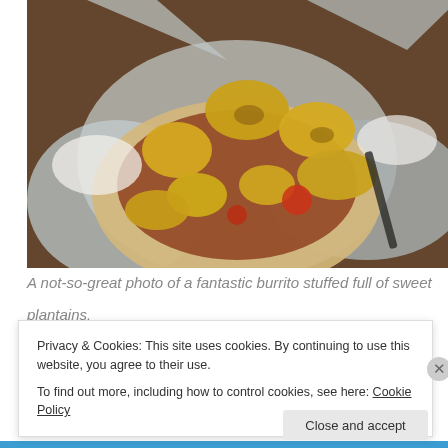[Figure (photo): A burrito wrapped in aluminum foil, opened to reveal filling of fried sweet plantains, tomatoes, sour cream, and other ingredients, placed on a wooden mat surface.]
A not-so-great photo of a fantastic burrito stuffed full of sweet plantains
Privacy & Cookies: This site uses cookies. By continuing to use this website, you agree to their use.
To find out more, including how to control cookies, see here: Cookie Policy